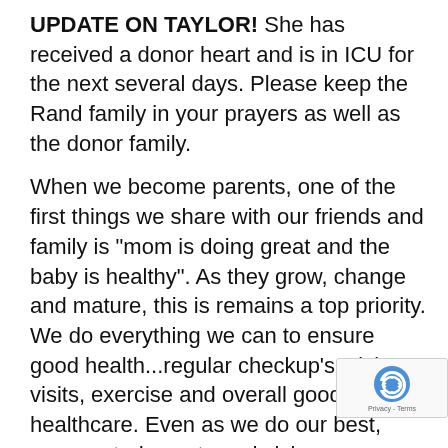UPDATE ON TAYLOR!  She has received a donor heart and is in ICU for the next several days.  Please keep the Rand family in your prayers as well as the donor family.
When we become parents, one of the first things we share with our friends and family is "mom is doing great and the baby is healthy".  As they grow, change and mature, this is remains a top priority.  We do everything we can to ensure good health...regular checkup's, sick visits, exercise and overall good healthcare.    Even as we do our best, unexpected events and sickness occurs.   We hear stories of illness' along life's journey and for each one, our heart breaks a little, especially when there are children of a age involved and we all wonder "What can help?"